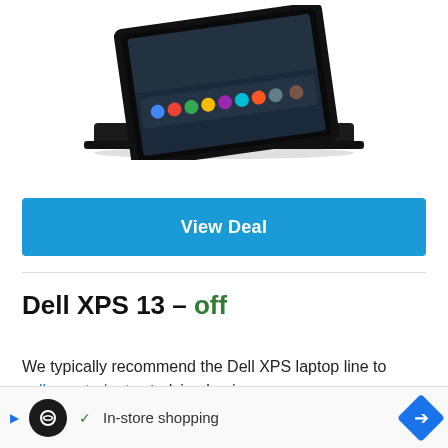[Figure (photo): Black laptop computer (Chromebook/XPS style) partially visible at top of page, open lid showing screen with colorful icons, viewed from front-left angle]
View Deal
Dell XPS 13 – off
We typically recommend the Dell XPS laptop line to college students studying business or engineering laptops. While...
[Figure (infographic): Advertisement overlay banner at bottom: black circle icon with infinity-like logo, blue play triangle, green checkmark with 'In-store shopping' text, blue diamond navigation arrow on right]